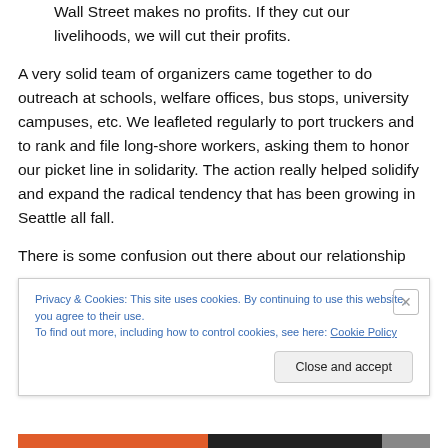Wall Street makes no profits. If they cut our livelihoods, we will cut their profits.
A very solid team of organizers came together to do outreach at schools, welfare offices, bus stops, university campuses, etc. We leafleted regularly to port truckers and to rank and file long-shore workers, asking them to honor our picket line in solidarity. The action really helped solidify and expand the radical tendency that has been growing in Seattle all fall.
There is some confusion out there about our relationship
Privacy & Cookies: This site uses cookies. By continuing to use this website, you agree to their use.
To find out more, including how to control cookies, see here: Cookie Policy